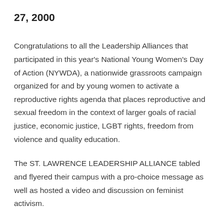27, 2000
Congratulations to all the Leadership Alliances that participated in this year's National Young Women's Day of Action (NYWDA), a nationwide grassroots campaign organized for and by young women to activate a reproductive rights agenda that places reproductive and sexual freedom in the context of larger goals of racial justice, economic justice, LGBT rights, freedom from violence and quality education.
The ST. LAWRENCE LEADERSHIP ALLIANCE tabled and flyered their campus with a pro-choice message as well as hosted a video and discussion on feminist activism.